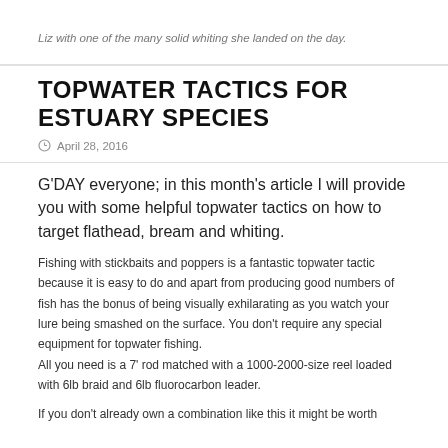Liz with one of the many solid whiting she landed on the day.
TOPWATER TACTICS FOR ESTUARY SPECIES
April 28, 2016
G'DAY everyone; in this month's article I will provide you with some helpful topwater tactics on how to target flathead, bream and whiting.
Fishing with stickbaits and poppers is a fantastic topwater tactic because it is easy to do and apart from producing good numbers of fish has the bonus of being visually exhilarating as you watch your lure being smashed on the surface. You don't require any special equipment for topwater fishing.
All you need is a 7' rod matched with a 1000-2000-size reel loaded with 6lb braid and 6lb fluorocarbon leader.
If you don't already own a combination like this it might be worth